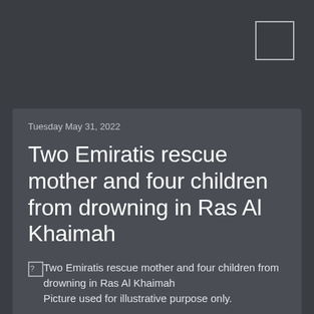Tuesday May 31, 2022
Two Emiratis rescue mother and four children from drowning in Ras Al Khaimah
[Figure (photo): Broken image placeholder for article photo. Alt text: Two Emiratis rescue mother and four children from drowning in Ras Al Khaimah]
Two Emiratis rescue mother and four children from drowning in Ras Al Khaimah
Picture used for illustrative purpose only.
Rlixa, Staff Reporter